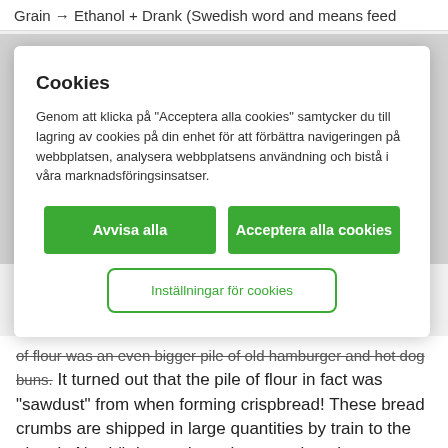Grain → Ethanol + Drank (Swedish word and means feed
Cookies
Genom att klicka på "Acceptera alla cookies" samtycker du till lagring av cookies på din enhet för att förbättra navigeringen på webbplatsen, analysera webbplatsens användning och bistå i våra marknadsföringsinsatser.
Avvisa alla
Acceptera alla cookies
Inställningar för cookies
of flour was an even bigger pile of old hamburger and hot dog buns. It turned out that the pile of flour in fact was "sawdust" from when forming crispbread! These bread crumbs are shipped in large quantities by train to the plant in Norrköping and are then sent into the production process (the piles you see in the pictures are, in other words, only small fractions of everything used).